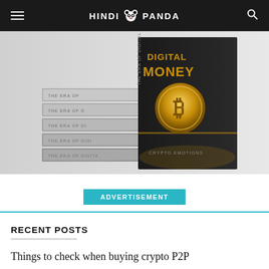HINDI PANDA
[Figure (photo): Stack of books titled 'The Era of Digital Money' by Crypto Emotions, with a Bitcoin coin on the cover of the front book against a dark background.]
ADVERTISEMENT
RECENT POSTS
Things to check when buying crypto P2P